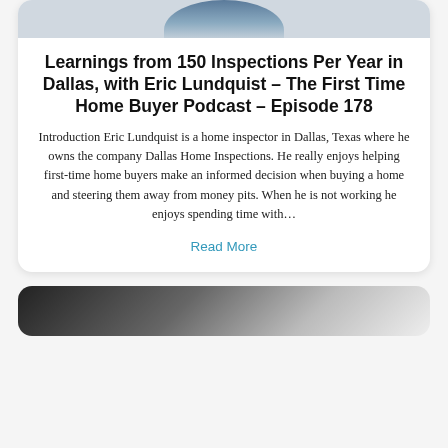[Figure (photo): Top portion of a person's photo cropped at the top of the card]
Learnings from 150 Inspections Per Year in Dallas, with Eric Lundquist – The First Time Home Buyer Podcast – Episode 178
Introduction Eric Lundquist is a home inspector in Dallas, Texas where he owns the company Dallas Home Inspections. He really enjoys helping first-time home buyers make an informed decision when buying a home and steering them away from money pits. When he is not working he enjoys spending time with…
Read More
[Figure (photo): Bottom partial photo showing black and white striped pattern, beginning of next card]